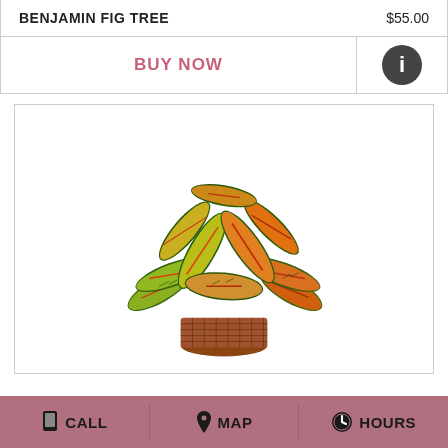BENJAMIN FIG TREE   $55.00
BUY NOW
[Figure (photo): A croton plant with large, colorful leaves in yellow, green, red, and orange patterns, potted in a wicker basket, on a white background.]
CALL   MAP   HOURS